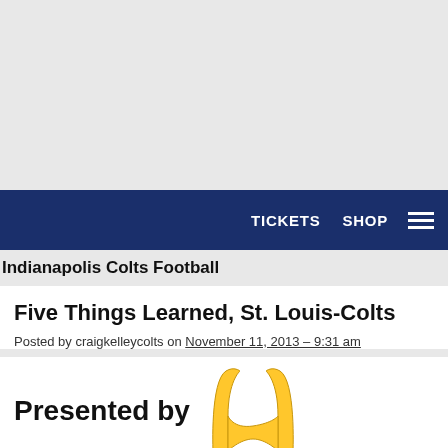[Figure (screenshot): Top gray banner area of a website]
TICKETS  SHOP  ☰
Indianapolis Colts Football
Five Things Learned, St. Louis-Colts
Posted by craigkelleycolts on November 11, 2013 – 9:31 am
[Figure (logo): Presented by McDonald's logo with golden arches and 'i'm lovin' it' tagline]